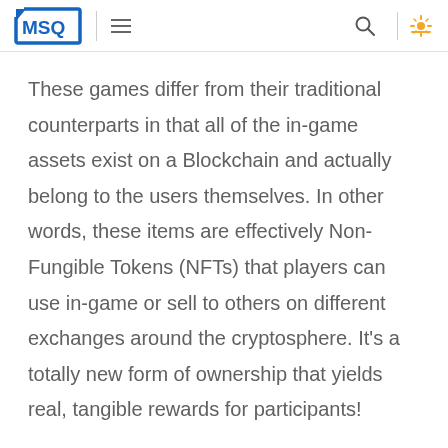MSQ [logo with hamburger menu, search, and notification icons]
These games differ from their traditional counterparts in that all of the in-game assets exist on a Blockchain and actually belong to the users themselves. In other words, these items are effectively Non-Fungible Tokens (NFTs) that players can use in-game or sell to others on different exchanges around the cryptosphere. It's a totally new form of ownership that yields real, tangible rewards for participants!